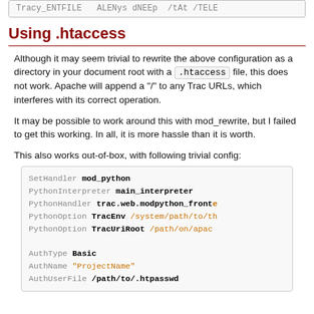[Figure (screenshot): Top code snippet box (partially visible, cropped at top)]
Using .htaccess
Although it may seem trivial to rewrite the above configuration as a directory in your document root with a .htaccess file, this does not work. Apache will append a "/" to any Trac URLs, which interferes with its correct operation.
It may be possible to work around this with mod_rewrite, but I failed to get this working. In all, it is more hassle than it is worth.
This also works out-of-box, with following trivial config:
[Figure (screenshot): Code block showing Apache/mod_python configuration: SetHandler mod_python, PythonInterpreter main_interpreter, PythonHandler trac.web.modpython_fronted, PythonOption TracEnv /system/path/to/t..., PythonOption TracUriRoot /path/on/apac..., AuthType Basic, AuthName "ProjectName", AuthUserFile /path/to/.htpasswd]